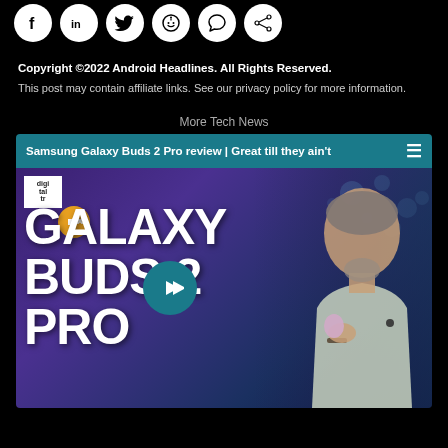[Figure (illustration): Row of social media share icons (Facebook, LinkedIn, Twitter, Reddit, and two others) as white icons on dark circular backgrounds]
Copyright ©2022 Android Headlines. All Rights Reserved.
This post may contain affiliate links. See our privacy policy for more information.
More Tech News
[Figure (screenshot): Video thumbnail for Samsung Galaxy Buds 2 Pro review with title bar reading 'Samsung Galaxy Buds 2 Pro review | Great till they ain't', showing text GALAXY BUDS 2 PRO overlaid on a purple/blue background with a man holding earbuds, play button in center, mute button and Digital Trends logo in top left]